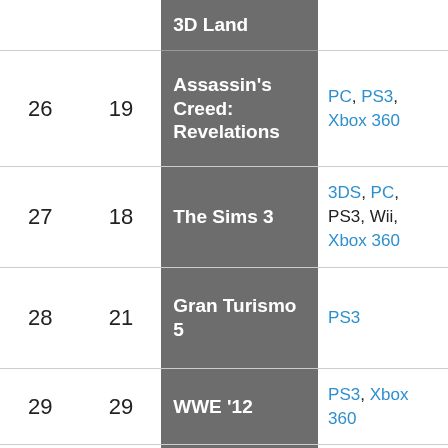| Rank | Previous | Game | Platforms |
| --- | --- | --- | --- |
|  |  | 3D Land |  |
| 26 | 19 | Assassin's Creed: Revelations | PC, PS3, Xbox 360 |
| 27 | 18 | The Sims 3 | 3DS, PC, PS3, Wii, Xbox 360 |
| 28 | 21 | Gran Turismo 5 | PS3 |
| 29 | 29 | WWE '12 | PS3, Xbox 360 |
| 30 | 34 | Football Manager 2012 | PC, PSP |
| 31 | 30 | Sonic Generations | PS3, Xbox 360 |